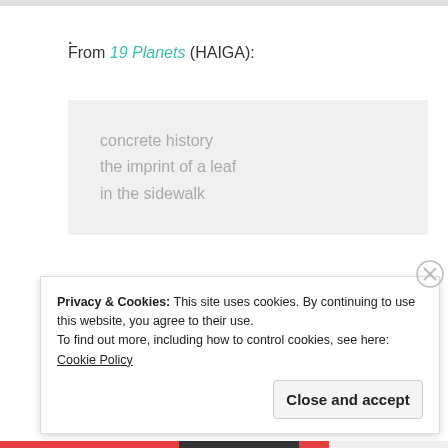.
From 19 Planets (HAIGA):
concrete history
the imprint of a leaf
in the sidewalk
Privacy & Cookies: This site uses cookies. By continuing to use this website, you agree to their use.
To find out more, including how to control cookies, see here: Cookie Policy
Close and accept